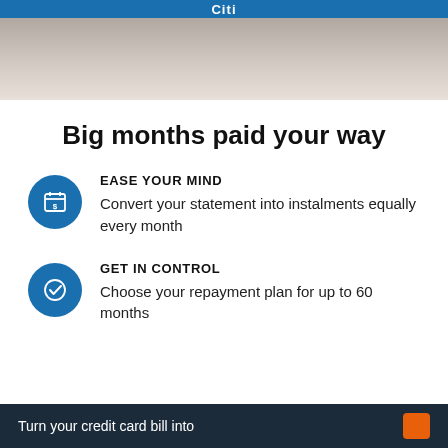Citi
[Figure (photo): Hero image area with blurred background photo]
Big months paid your way
EASE YOUR MIND — Convert your statement into instalments equally every month
GET IN CONTROL — Choose your repayment plan for up to 60 months
Turn your credit card bill into